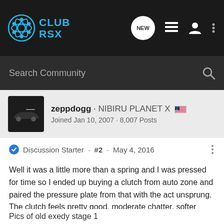[Figure (logo): Club RSX logo with gear/atom icon and blue text]
Search Community
zeppdogg · NIBIRU PLANET X 🇺🇸
Joined Jan 10, 2007 · 8,007 Posts
Discussion Starter · #2 · May 4, 2016
Well it was a little more than a spring and I was pressed for time so I ended up buying a clutch from auto zone and paired the pressure plate from that with the act unsprung. The clutch feels pretty good, moderate chatter, softer pedal of course........ side note the duralast clutch looks like exedy and the hub on the disc looks like it's from a stage 1 but just painted.
Pics of old exedy stage 1